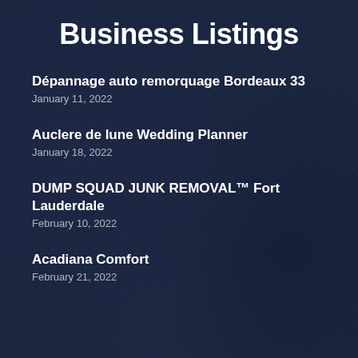Business Listings
Dépannage auto remorquage Bordeaux 33
January 11, 2022
Auclere de lune Wedding Planner
January 18, 2022
DUMP SQUAD JUNK REMOVAL™ Fort Lauderdale
February 10, 2022
Acadiana Comfort
February 21, 2022